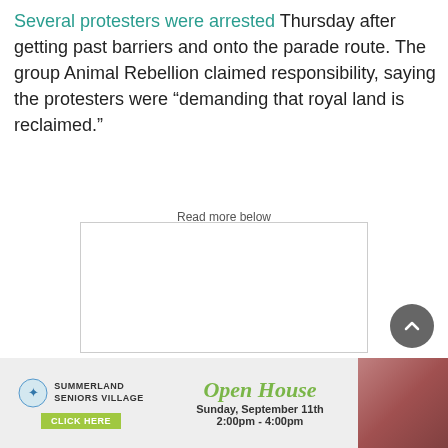Several protesters were arrested Thursday after getting past barriers and onto the parade route. The group Animal Rebellion claimed responsibility, saying the protesters were “demanding that royal land is reclaimed.”
Read more below
[Figure (other): Advertisement placeholder box with border]
[Figure (other): Summerland Seniors Village Open House advertisement banner. Sunday, September 11th 2:00pm - 4:00pm. Click Here button. Image of a vintage pink/red car.]